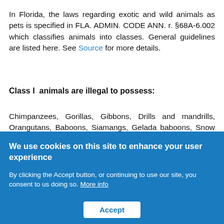In Florida, the laws regarding exotic and wild animals as pets is specified in FLA. ADMIN. CODE ANN. r. §68A-6.002 which classifies animals into classes. General guidelines are listed here. See Source for more details.
Class I  animals are illegal to possess:
Chimpanzees, Gorillas, Gibbons, Drills and mandrills, Orangutans, Baboons, Siamangs, Gelada baboons, Snow leopards, Leopards, Jaguars, Tigers, Lions, Bears, Rhinoceros, Elephants, Hippopotamuses, Cape buffalos, Crocodiles (except dwarf and Congo), Gavials, Black ...
We use cookies on this site to enhance your user experience
By clicking the Accept button, or continuing to use our site, you consent to us doing so. More info